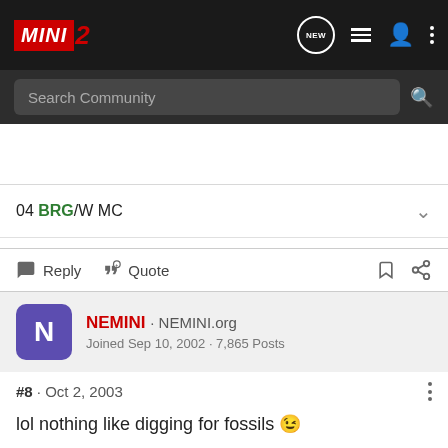MINI 2 — navigation bar with logo and icons
Search Community
04 BRG/W MC
Reply  Quote
NEMINI · NEMINI.org
Joined Sep 10, 2002 · 7,865 Posts
#8 · Oct 2, 2003
lol nothing like digging for fossils 😉